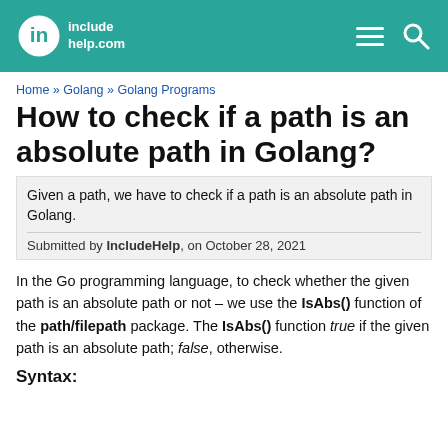includehelp.com
Home » Golang » Golang Programs
How to check if a path is an absolute path in Golang?
Given a path, we have to check if a path is an absolute path in Golang.
Submitted by IncludeHelp, on October 28, 2021
In the Go programming language, to check whether the given path is an absolute path or not – we use the IsAbs() function of the path/filepath package. The IsAbs() function true if the given path is an absolute path; false, otherwise.
Syntax: